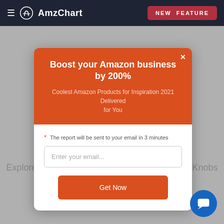≡ AmzChart  NEW FEATURE
Boost your Amazon business by 200%
Coolest Amazon Products for Inspiration 2021 Delivered for You
* The report will be sent to your email in 3 minutes
Enter your email...
Get Now
Explore Amazon top-selling items in Push-Pull Knobs and more